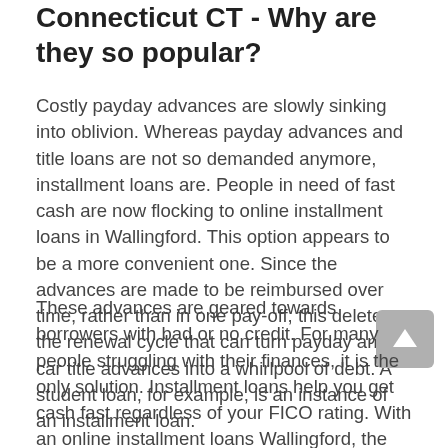Connecticut CT - Why are they so popular?
Costly payday advances are slowly sinking into oblivion. Whereas payday advances and title loans are not so demanded anymore, installment loans are. People in need of fast cash are now flocking to online installment loans in Wallingford. This option appears to be a more convenient one. Since the advances are made to be reimbursed over time, rather than in one pay-off, this deletes the renewal cycle that can turn payday and car title advances into a whirlpool of debt. A student loan, for example, is an instance of an installment loan.
These advances are geared towards borrowers with bad or no credit. For many people struggling with their finances, it is the only solution. Installment loans help you get cash fast regardless of your FICO rating. With an online installment loans Wallingford, the whole procedure is done online by direct lenders. Many borrowers find it faster and simpler to get an installment loan online than at a